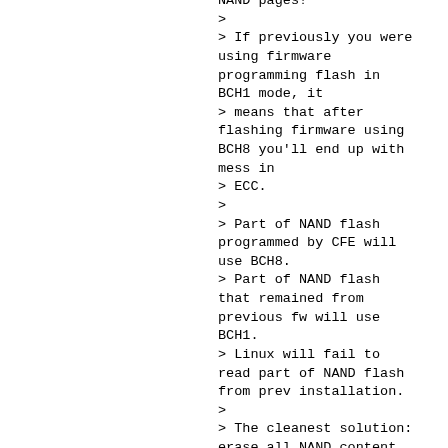NAND pages!
>
> If previously you were using firmware programming flash in BCH1 mode, it
> means that after flashing firmware using BCH8 you'll end up with mess in
> ECC.
>
> Part of NAND flash programmed by CFE will use BCH8.
> Part of NAND flash that remained from previous fw will use BCH1.
> Linux will fail to read part of NAND flash from prev installation.
>
> The cleanest solution: erase all NAND content of firmware partition
> before flashing firmware using BCH8.
>
> The easiest solution: ignore all these "error